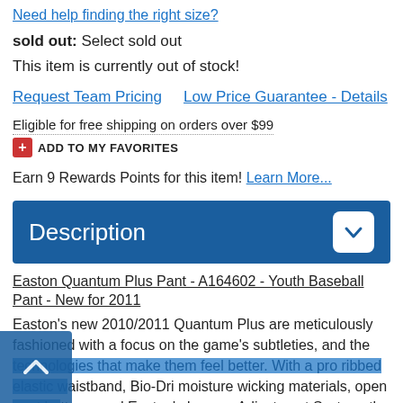Need help finding the right size?
sold out: Select sold out
This item is currently out of stock!
Request Team Pricing    Low Price Guarantee - Details
Eligible for free shipping on orders over $99
ADD TO MY FAVORITES
Earn 9 Rewards Points for this item! Learn More...
Description
Easton Quantum Plus Pant - A164602 - Youth Baseball Pant - New for 2011
Easton's new 2010/2011 Quantum Plus are meticulously fashioned with a focus on the game's subtleties, and the technologies that make them feel better. With a pro ribbed elastic waistband, Bio-Dri moisture wicking materials, open pant bottoms and Easton's Inseam Adjustment System, the Quantum Plus Pant keeps players cool, comfortable and